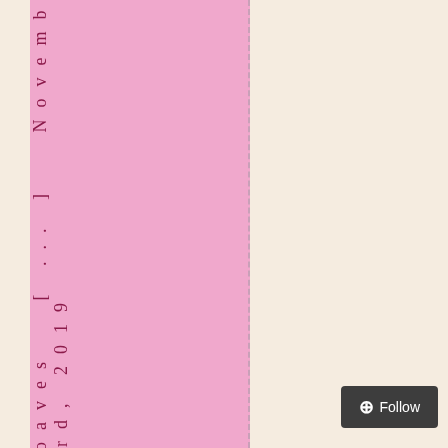loaves [...] November 3rd, 2019
Follow